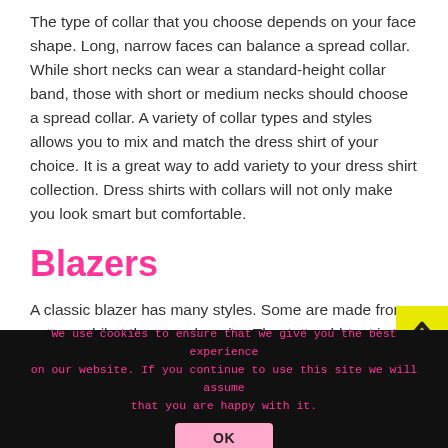The type of collar that you choose depends on your face shape. Long, narrow faces can balance a spread collar. While short necks can wear a standard-height collar band, those with short or medium necks should choose a spread collar. A variety of collar types and styles allows you to mix and match the dress shirt of your choice. It is a great way to add variety to your dress shirt collection. Dress shirts with collars will not only make you look smart but comfortable.
Blazers
A classic blazer has many styles. Some are made from cotton, while others are heavier. The cotton blazer is the most versatile, allowing you to mix and match it with any other outfit. It also looks great with jeans or sneakers.
We use cookies to ensure that we give you the best experience on our website. If you continue to use this site we will assume that you are happy with it.